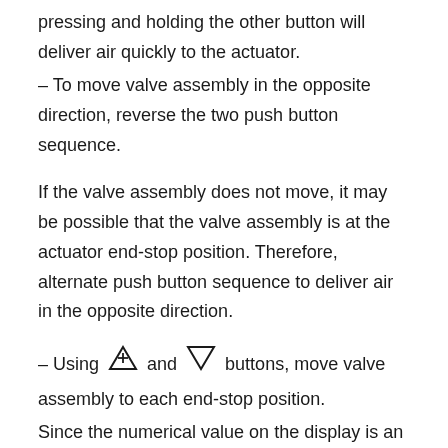pressing and holding the other button will deliver air quickly to the actuator.
– To move valve assembly in the opposite direction, reverse the two push button sequence.
If the valve assembly does not move, it may be possible that the valve assembly is at the actuator end-stop position. Therefore, alternate push button sequence to deliver air in the opposite direction.
– Using [up-arrow] and [down-arrow] buttons, move valve assembly to each end-stop position.
Since the numerical value on the display is an un-